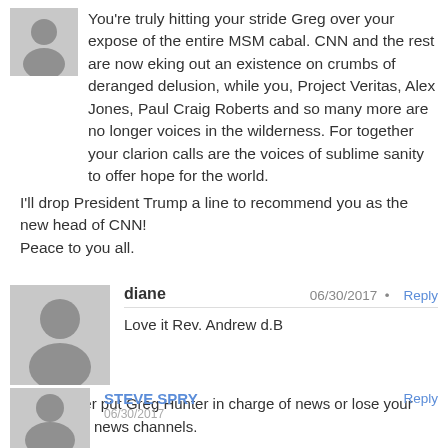You're truly hitting your stride Greg over your expose of the entire MSM cabal. CNN and the rest are now eking out an existence on crumbs of deranged delusion, while you, Project Veritas, Alex Jones, Paul Craig Roberts and so many more are no longer voices in the wilderness. For together your clarion calls are the voices of sublime sanity to offer hope for the world.
I'll drop President Trump a line to recommend you as the new head of CNN!
Peace to you all.
diane
06/30/2017 • Reply
Love it Rev. Andrew d.B
CNN....either put Greg Hunter in charge of news or lose your place on TV news channels.
STEVE SPRY
Reply
06/30/2017